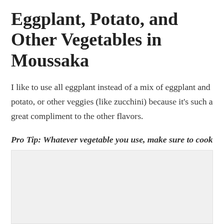Eggplant, Potato, and Other Vegetables in Moussaka
I like to use all eggplant instead of a mix of eggplant and potato, or other veggies (like zucchini) because it's such a great compliment to the other flavors.
Pro Tip: Whatever vegetable you use, make sure to cook it first! Otherwise, it will add to much water to the casserole.
[Figure (photo): A light gray rectangular placeholder image at the bottom of the page]